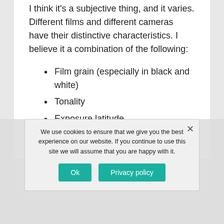I think it's a subjective thing, and it varies. Different films and different cameras have their distinctive characteristics. I believe it a combination of the following:
Film grain (especially in black and white)
Tonality
Exposure latitude
Whatever it is, most photographers agree… Film has soul!
We use cookies to ensure that we give you the best experience on our website. If you continue to use this site we will assume that you are happy with it.